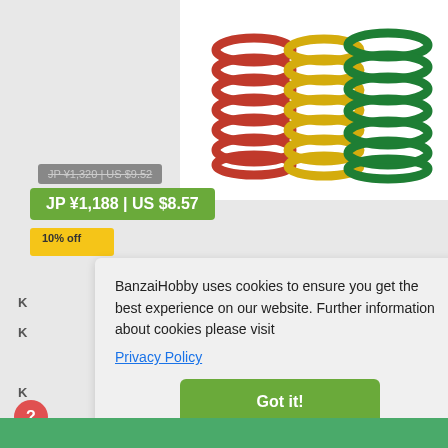[Figure (photo): Three coil springs: red, yellow, and green, displayed on a white background]
JP ¥1,320 | US $9.52
JP ¥1,188 | US $8.57
10% off
K
K
K
BanzaiHobby uses cookies to ensure you get the best experience on our website. Further information about cookies please visit
Privacy Policy
Got it!